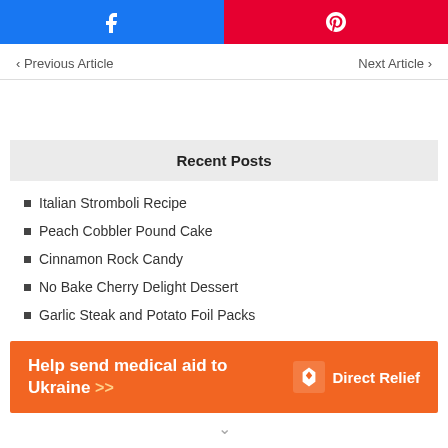[Figure (other): Facebook share button (blue) and Pinterest share button (red) side by side]
< Previous Article    Next Article >
Recent Posts
Italian Stromboli Recipe
Peach Cobbler Pound Cake
Cinnamon Rock Candy
No Bake Cherry Delight Dessert
Garlic Steak and Potato Foil Packs
[Figure (infographic): Orange banner ad: Help send medical aid to Ukraine >> with Direct Relief logo]